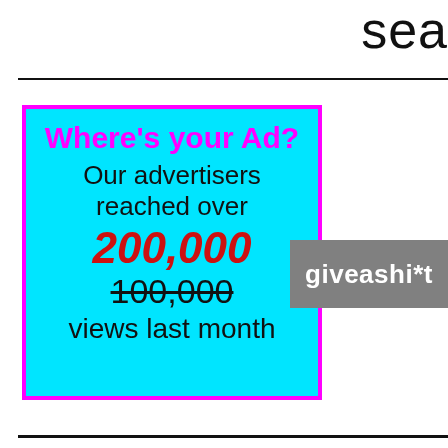sea
[Figure (infographic): Cyan/turquoise bordered advertisement box with magenta header 'Where's your Ad?', black text 'Our advertisers reached over', red bold '200,000', strikethrough '100,000', black 'views last month'. Next to it a gray rectangle with white bold text 'giveashi*t'.]
O
N